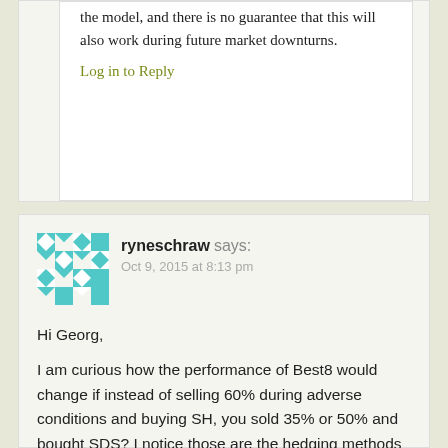the model, and there is no guarantee that this will also work during future market downturns.
Log in to Reply
ryneschraw says:
Oct 9, 2015 at 8:13 pm
Hi Georg,
I am curious how the performance of Best8 would change if instead of selling 60% during adverse conditions and buying SH, you sold 35% or 50% and bought SDS? I notice those are the hedging methods used on Best2x4 and 3×4 and was curious of the benefits of one method over the other?